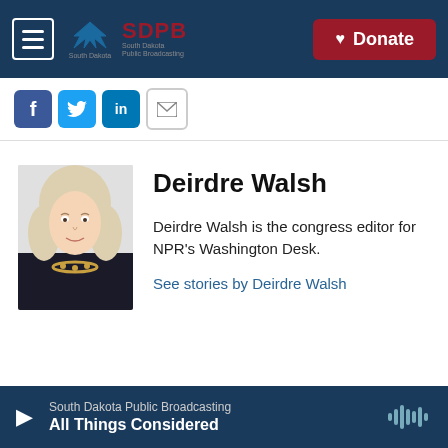SDPB South Dakota Public Broadcasting | Donate
[Figure (screenshot): Social media sharing icons: Facebook, Twitter, LinkedIn, Email]
[Figure (photo): Professional headshot of Deirdre Walsh, a woman with blonde hair wearing a dark jacket and gold necklace]
Deirdre Walsh
Deirdre Walsh is the congress editor for NPR's Washington Desk.
See stories by Deirdre Walsh
South Dakota Public Broadcasting | All Things Considered